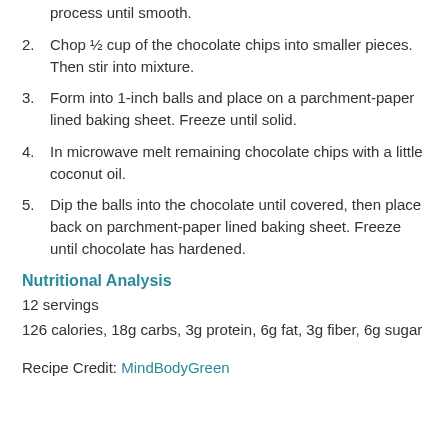2. Chop ½ cup of the chocolate chips into smaller pieces. Then stir into mixture.
3. Form into 1-inch balls and place on a parchment-paper lined baking sheet. Freeze until solid.
4. In microwave melt remaining chocolate chips with a little coconut oil.
5. Dip the balls into the chocolate until covered, then place back on parchment-paper lined baking sheet. Freeze until chocolate has hardened.
Nutritional Analysis
12 servings
126 calories, 18g carbs, 3g protein, 6g fat, 3g fiber, 6g sugar
Recipe Credit: MindBodyGreen